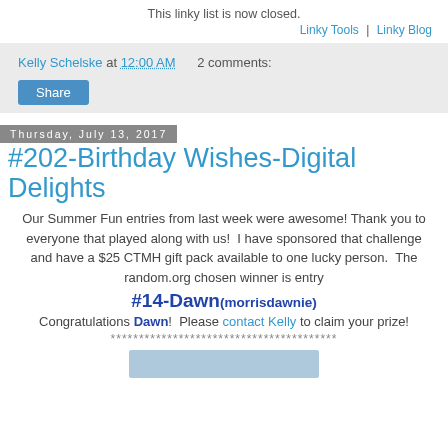This linky list is now closed.
Linky Tools | Linky Blog
Kelly Schelske at 12:00 AM   2 comments:
Share
Thursday, July 13, 2017
#202-Birthday Wishes-Digital Delights
Our Summer Fun entries from last week were awesome!  Thank you to everyone that played along with us!  I have sponsored that challenge and have a $25 CTMH gift pack available to one lucky person.  The random.org chosen winner is entry
#14-Dawn(morrisdawnie)
Congratulations Dawn!  Please contact Kelly to claim your prize!
****************************************
[Figure (photo): Partial image at the bottom of the page]